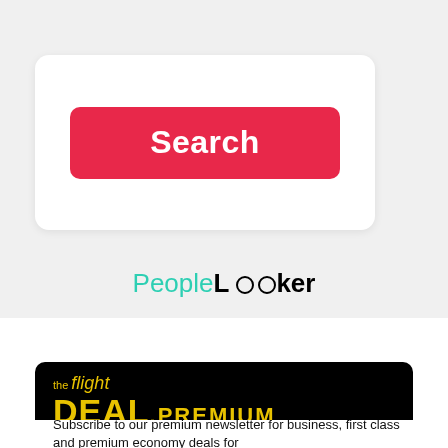[Figure (screenshot): Hamburger menu icon (three horizontal lines) in top left corner]
[Figure (screenshot): White card with a red Search button inside a light gray background section]
[Figure (logo): PeopleLooker logo — People in teal/green, Looker in black with binocular icon above the two o's]
[Figure (logo): The Flight Deal Premium logo on black background — 'the flight' in italic yellow above 'DEAL.PREMIUM' in large bold yellow capitals]
Subscribe to our premium newsletter for business, first class and premium economy deals for